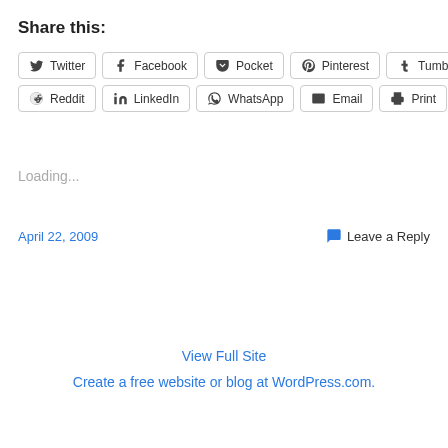Share this:
Twitter Facebook Pocket Pinterest Tumblr Reddit LinkedIn WhatsApp Email Print
Loading...
April 22, 2009
Leave a Reply
View Full Site
Create a free website or blog at WordPress.com.